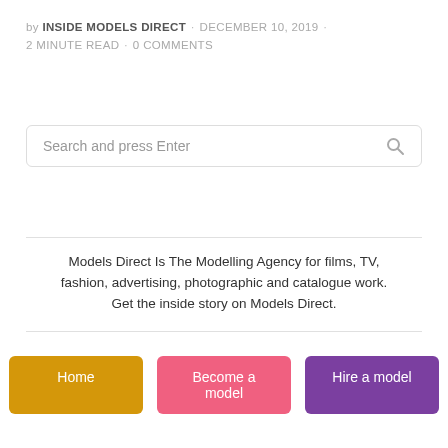by INSIDE MODELS DIRECT · DECEMBER 10, 2019 · 2 MINUTE READ · 0 COMMENTS
[Figure (other): Search bar with placeholder text 'Search and press Enter' and a search icon on the right]
Models Direct Is The Modelling Agency for films, TV, fashion, advertising, photographic and catalogue work. Get the inside story on Models Direct.
Home | Become a model | Hire a model